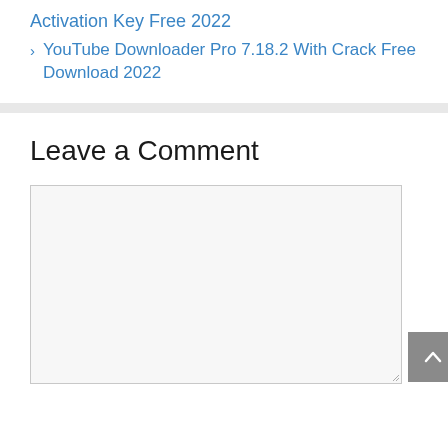Activation Key Free 2022
› YouTube Downloader Pro 7.18.2 With Crack Free Download 2022
Leave a Comment
[Figure (other): Empty comment text area input box with resize handle and scroll-to-top button]